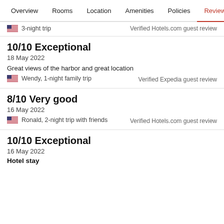Overview  Rooms  Location  Amenities  Policies  Reviews
3-night trip
Verified Hotels.com guest review
10/10 Exceptional
18 May 2022
Great views of the harbor and great location
Wendy, 1-night family trip
Verified Expedia guest review
8/10 Very good
16 May 2022
Ronald, 2-night trip with friends
Verified Hotels.com guest review
10/10 Exceptional
16 May 2022
Hotel stay